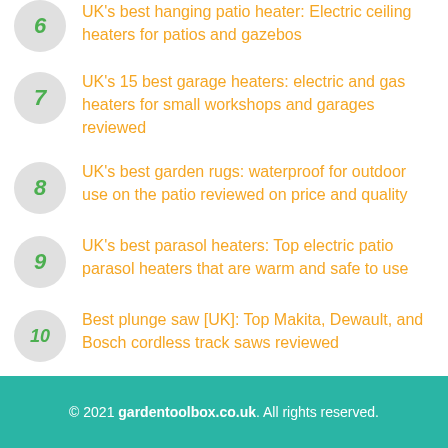UK's best hanging patio heater: Electric ceiling heaters for patios and gazebos
UK's 15 best garage heaters: electric and gas heaters for small workshops and garages reviewed
UK's best garden rugs: waterproof for outdoor use on the patio reviewed on price and quality
UK's best parasol heaters: Top electric patio parasol heaters that are warm and safe to use
Best plunge saw [UK]: Top Makita, Dewault, and Bosch cordless track saws reviewed
© 2021 gardentoolbox.co.uk. All rights reserved.